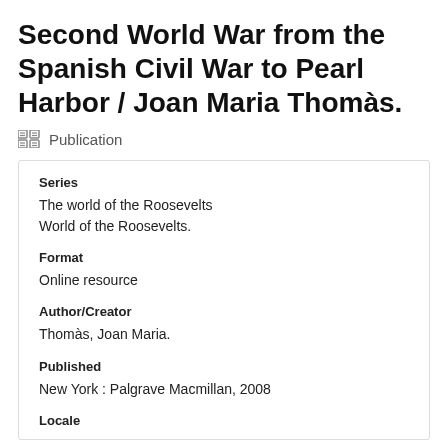Second World War from the Spanish Civil War to Pearl Harbor / Joan Maria Thomàs.
Publication
Series
The world of the Roosevelts
World of the Roosevelts.
Format
Online resource
Author/Creator
Thomàs, Joan Maria.
Published
New York : Palgrave Macmillan, 2008
Locale